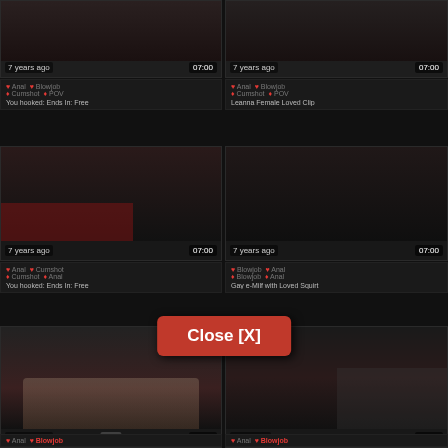[Figure (screenshot): Video thumbnail grid showing adult content website with multiple video thumbnails in two columns. Thumbnails show dark images. Each has a '7 years ago' label and '07:00' duration. Metadata rows show tags including Anal, Blowjob, Cumshot, POV. A red 'Close [X]' button appears centered near the bottom.]
7 years ago
07:00
7 years ago
07:00
Anal • Blowjob
Cumshot • POV
You hooked: Ends In: Free
Anal • Blowjob
Cumshot • POV
Leanna Female Loved Clip
7 years ago
07:00
7 years ago
07:00
Anal • Cumshot
Blowjob • Anal
Anal • Blowjob
Anal • Blowjob
You hooked: Ends In: Free
Gay e-Milf with Loved Squirt
7 years ago
07:00
top
7 years ago
07:00
Anal • Blowjob
Anal • Blowjob
Close [X]